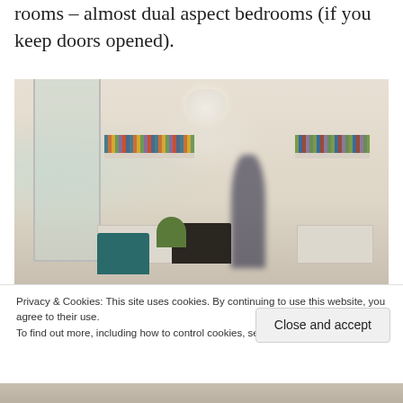rooms – almost dual aspect bedrooms (if you keep doors opened).
[Figure (photo): Interior photo of a light, minimal living room with white walls, built-in shelves with books, a pendant lamp, fireplace, teal armchair, plant, and a blurred person walking]
Privacy & Cookies: This site uses cookies. By continuing to use this website, you agree to their use.
To find out more, including how to control cookies, see here: Cookie Policy
Close and accept